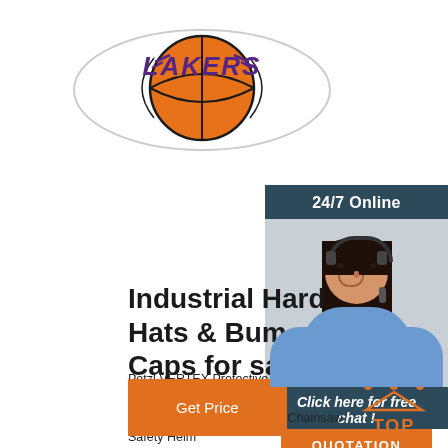[Figure (logo): Los Angeles Lakers embroidered patch logo showing orange basketball with purple/gold 'Lakers' text on white background]
[Figure (photo): 24/7 Online customer service widget showing a smiling female agent with headset on dark teal background with 'Click here for free chat!' text and orange QUOTATION button]
Industrial Hard Hats & Bump Caps for sale
Petzl VERTEX Protective Bump Safety Helmet - Bla... New. Oregon 562412 Yukon Chainsaw Safety Helm... of 5 stars. (49) Total ratings 49, £20.99 New. Delta P... Hat Safety Helmet Grey Hi Viz Band Textile Harness Adjustable. 4.9 out of 5 stars.
[Figure (logo): Orange TOP icon with dotted triangle above the word TOP]
Get Price